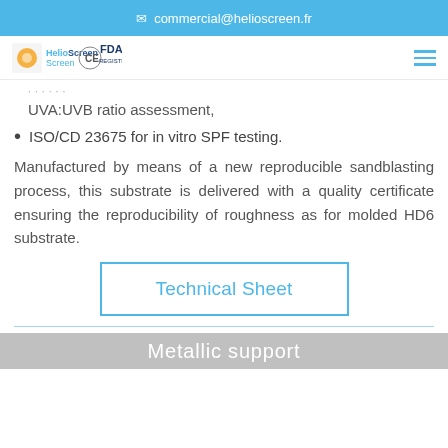commercial@helioscreen.fr
[Figure (logo): HelioScreen logo with orange circle, CE mark, and FDA Registered logo, with hamburger menu icon]
UVA:UVB ratio assessment,
ISO/CD 23675 for in vitro SPF testing.
Manufactured by means of a new reproducible sandblasting process, this substrate is delivered with a quality certificate ensuring the reproducibility of roughness as for molded HD6 substrate.
Technical Sheet
Metallic support